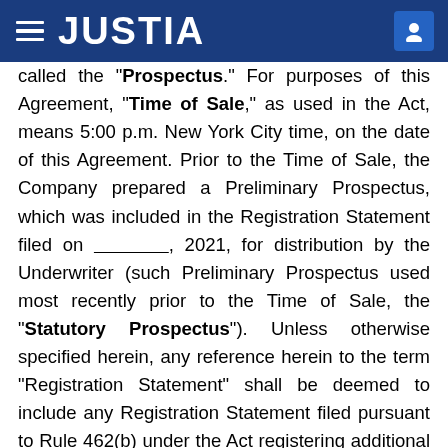JUSTIA
called the "Prospectus." For purposes of this Agreement, "Time of Sale," as used in the Act, means 5:00 p.m. New York City time, on the date of this Agreement. Prior to the Time of Sale, the Company prepared a Preliminary Prospectus, which was included in the Registration Statement filed on _______, 2021, for distribution by the Underwriter (such Preliminary Prospectus used most recently prior to the Time of Sale, the "Statutory Prospectus"). Unless otherwise specified herein, any reference herein to the term "Registration Statement" shall be deemed to include any Registration Statement filed pursuant to Rule 462(b) under the Act registering additional securities (a "Rule 462(b) Registration Statement"). Other than a Rule 462(b) Registration Statement and the Exchange Act Registration Statement described in Section 2.1.2 below, no other document with respect to the Registration